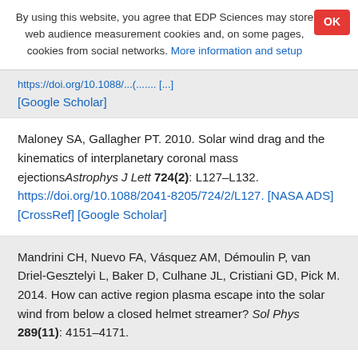By using this website, you agree that EDP Sciences may store web audience measurement cookies and, on some pages, cookies from social networks. More information and setup
[Google Scholar]
Maloney SA, Gallagher PT. 2010. Solar wind drag and the kinematics of interplanetary coronal mass ejections Astrophys J Lett 724(2): L127–L132. https://doi.org/10.1088/2041-8205/724/2/L127. [NASA ADS] [CrossRef] [Google Scholar]
Mandrini CH, Nuevo FA, Vásquez AM, Démoulin P, van Driel-Gesztelyi L, Baker D, Culhane JL, Cristiani GD, Pick M. 2014. How can active region plasma escape into the solar wind from below a closed helmet streamer? Sol Phys 289(11): 4151–4171.